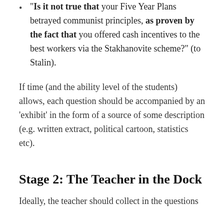“Is it not true that your Five Year Plans betrayed communist principles, as proven by the fact that you offered cash incentives to the best workers via the Stakhanovite scheme?” (to Stalin).
If time (and the ability level of the students) allows, each question should be accompanied by an ‘exhibit’ in the form of a source of some description (e.g. written extract, political cartoon, statistics etc).
Stage 2: The Teacher in the Dock
Ideally, the teacher should collect in the questions